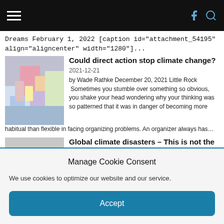Navigation bar with hamburger menu and icons
Dreams February 1, 2022 [caption id="attachment_54195" align="aligncenter" width="1280"]...
Could direct action stop climate change?
2021-12-21
by Wade Rathke December 20, 2021 Little Rock  Sometimes you stumble over something so obvious, you shake your head wondering why your thinking was so patterned that it was in danger of becoming more habitual than flexible in facing organizing problems. An organizer always has…
[Figure (photo): Photo of climate protest with signs]
Global climate disasters – This is not the new normal
[Figure (photo): Gray placeholder image for second article]
Manage Cookie Consent
We use cookies to optimize our website and our service.
Accept